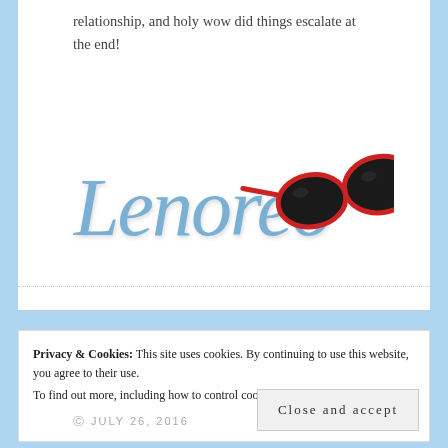relationship, and holy wow did things escalate at the end!
[Figure (logo): Lenoreo cursive blue logo with red sunglasses]
Privacy & Cookies: This site uses cookies. By continuing to use this website, you agree to their use.
To find out more, including how to control cookies, see here: Cookie Policy
Close and accept
JULY 26, 2016